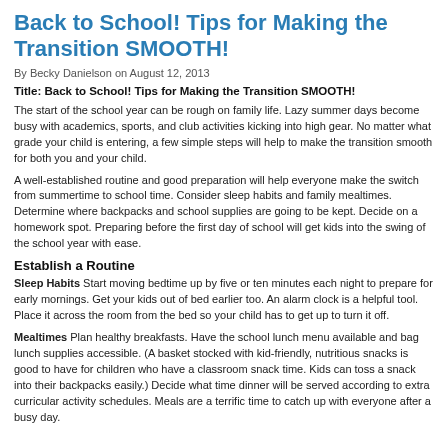Back to School! Tips for Making the Transition SMOOTH!
By Becky Danielson on August 12, 2013
Title: Back to School! Tips for Making the Transition SMOOTH!
The start of the school year can be rough on family life. Lazy summer days become busy with academics, sports, and club activities kicking into high gear. No matter what grade your child is entering, a few simple steps will help to make the transition smooth for both you and your child.
A well-established routine and good preparation will help everyone make the switch from summertime to school time. Consider sleep habits and family mealtimes. Determine where backpacks and school supplies are going to be kept. Decide on a homework spot. Preparing before the first day of school will get kids into the swing of the school year with ease.
Establish a Routine
Sleep Habits Start moving bedtime up by five or ten minutes each night to prepare for early mornings. Get your kids out of bed earlier too. An alarm clock is a helpful tool. Place it across the room from the bed so your child has to get up to turn it off.
Mealtimes Plan healthy breakfasts. Have the school lunch menu available and bag lunch supplies accessible. (A basket stocked with kid-friendly, nutritious snacks is good to have for children who have a classroom snack time. Kids can toss a snack into their backpacks easily.) Decide what time dinner will be served according to extra curricular activity schedules. Meals are a terrific time to catch up with everyone after a busy day.